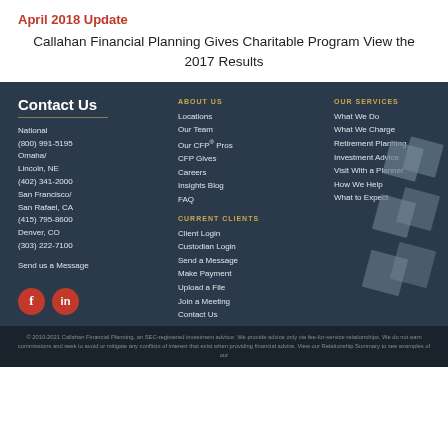April 2018 Update
Callahan Financial Planning Gives Charitable Program View the 2017 Results
Contact Us
National
(800) 991-5195
Omaha/
Lincoln, NE
(402) 341-2000
San Francisco/
San Rafael, CA
(415) 795-8600
Denver, CO
(303) 222-7100
Send us a Message
ABOUT US
Locations
Our Team
Our CFP® Pros
CFP Gives
Careers
Insights Blog
FAQ
CURRENT CLIENTS
Client Login
Custodian Login
Send a Message
Make Payment
Upload a File
Join a Meeting
Contact Us
OUR SERVICES
What We Do
What We Charge
Retirement Planning
Investment Advice
Visit With a Planner
How We Help
What to Expect
[Figure (logo): Social media icons: Facebook and LinkedIn circles in red]
[Figure (illustration): Decorative geometric diamond/rhombus shapes in grey on dark background]
© 2010-2021 Callahan Financial Planning, an SEC-registered investment advisor. We provide advice only via fee-for-service relationships. We do not earn commissions and seek to avoid or mitigate any conflicts of interest that exist when providing financial advice. View our Relationship Summary to see examples of our